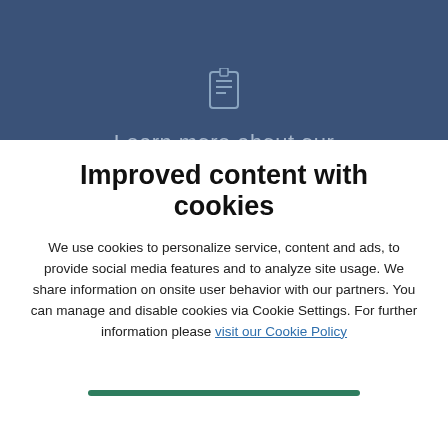[Figure (screenshot): Top blue banner with a document/report icon and partial text 'Learn more about our']
Improved content with cookies
We use cookies to personalize service, content and ads, to provide social media features and to analyze site usage. We share information on onsite user behavior with our partners. You can manage and disable cookies via Cookie Settings. For further information please visit our Cookie Policy
[Figure (screenshot): Bottom dark teal/green banner with text 'Read more on our sustainability site' and a circular arrow icon]